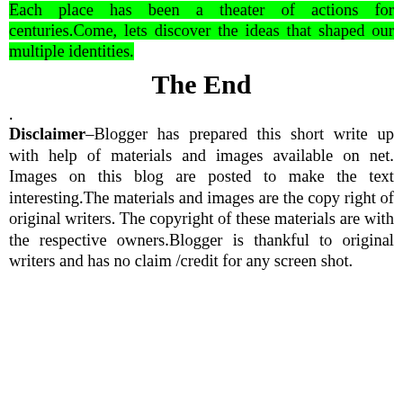Each place has been a theater of actions for centuries.Come, lets discover the ideas that shaped our multiple identities.
The End
.
Disclaimer–Blogger has prepared this short write up with help of materials and images available on net. Images on this blog are posted to make the text interesting.The materials and images are the copy right of original writers. The copyright of these materials are with the respective owners.Blogger is thankful to original writers and has no claim /credit for any screen shot.